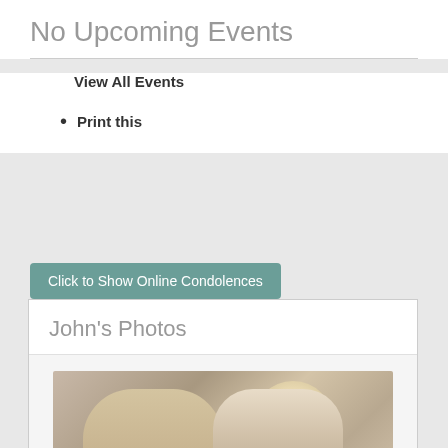No Upcoming Events
View All Events
Print this
Click to Show Online Condolences
John's Photos
[Figure (photo): A couple dressed formally, a woman with blonde hair and a man in a white shirt with bow tie, standing in front of an arched window.]